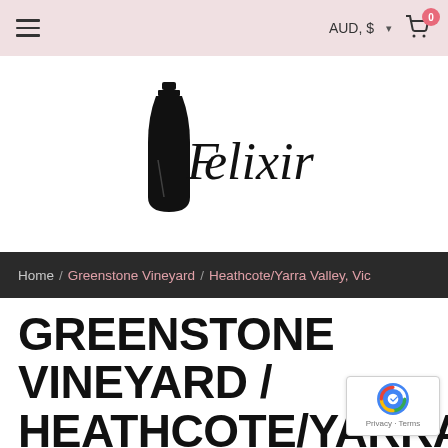AUD, $ · cart (0)
[Figure (logo): Felixir wine brand logo: a black silhouette of a wine bottle with the cursive script text 'Felixir' beside it]
Home / Greenstone Vineyard / Heathcote/Yarra Valley, Vic
GREENSTONE VINEYARD / HEATHCOTE/YARRA VALLEY, VIC